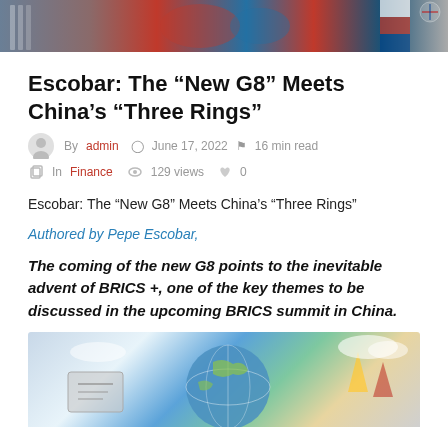[Figure (illustration): Decorative banner at top of page showing illustrated figures with flags and classical architecture, colorful artwork]
Escobar: The “New G8” Meets China’s “Three Rings”
By admin  June 17, 2022  16 min read  In Finance  129 views  0
Escobar: The “New G8” Meets China’s “Three Rings”
Authored by Pepe Escobar,
The coming of the new G8 points to the inevitable advent of BRICS +, one of the key themes to be discussed in the upcoming BRICS summit in China.
[Figure (illustration): Illustrated artwork showing a globe with flags and decorative elements, partial view at bottom of page]